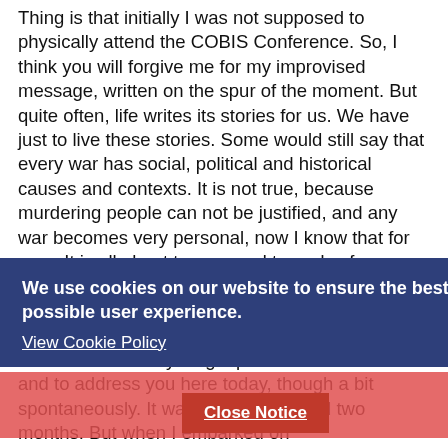Thing is that initially I was not supposed to physically attend the COBIS Conference. So, I think you will forgive me for my improvised message, written on the spur of the moment. But quite often, life writes its stories for us. We have just to live these stories. Some would still say that every war has social, political and historical causes and contexts. It is not true, because murdering people can not be justified, and any war becomes very personal, now I know that for sure. It is all about trauma and tragedy of a certain person -- a certain wife, a certain husband, a certain husband, a certain child. I have made a very long trip to come over here and to address you here today, though a bit spontaneously. It was a trip that lasted two months. But when I embarked on this journey', I did not know that the path would lead me to London. Then, in early March, a friend of mine gave me his 14-year old son and asked me to get out of the country and take the boy
We use cookies on our website to ensure the best possible user experience. View Cookie Policy
Close Notice